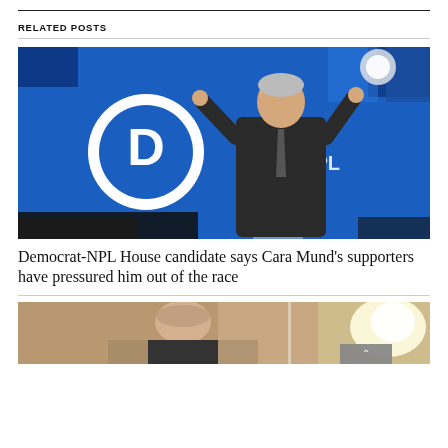RELATED POSTS
[Figure (photo): A man in a dark suit stands at a glass podium with both fists raised, in front of a blue-lit backdrop showing the Democrat party logo (D in a circle) and partial text 'NO DE NPL'.]
Democrat-NPL House candidate says Cara Mund’s supporters have pressured him out of the race
[Figure (photo): Partial image of a man speaking at a podium, with a bright light on the right side, partially cut off at bottom of page.]